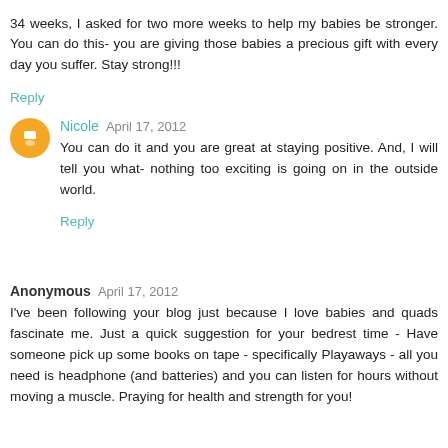34 weeks, I asked for two more weeks to help my babies be stronger. You can do this- you are giving those babies a precious gift with every day you suffer. Stay strong!!!
Reply
Nicole  April 17, 2012
You can do it and you are great at staying positive. And, I will tell you what- nothing too exciting is going on in the outside world.
Reply
Anonymous  April 17, 2012
I've been following your blog just because I love babies and quads fascinate me. Just a quick suggestion for your bedrest time - Have someone pick up some books on tape - specifically Playaways - all you need is headphone (and batteries) and you can listen for hours without moving a muscle. Praying for health and strength for you!